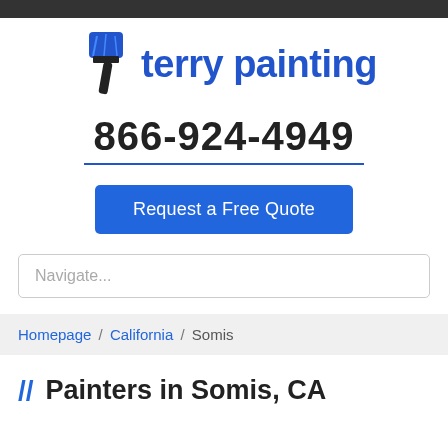[Figure (logo): Terry Painting logo: blue paintbrush icon with black handle and blue text 'terry painting']
866-924-4949
Request a Free Quote
Navigate...
Homepage / California / Somis
// Painters in Somis, CA